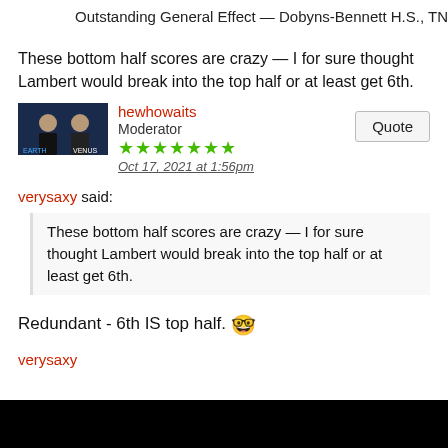Outstanding General Effect — Dobyns-Bennett H.S., TN
These bottom half scores are crazy — I for sure thought Lambert would break into the top half or at least get 6th.
hewhowaits
Moderator
★★★★★★★
Oct 17, 2021 at 1:56pm
verysaxy said:
These bottom half scores are crazy — I for sure thought Lambert would break into the top half or at least get 6th.
Redundant - 6th IS top half. 🤓
verysaxy